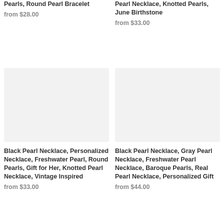Pearls, Round Pearl Bracelet
from $28.00
Pearl Necklace, Knotted Pearls, June Birthstone
from $33.00
[Figure (photo): Product image placeholder - light gray background]
[Figure (photo): Product image placeholder - light gray background]
Black Pearl Necklace, Personalized Necklace, Freshwater Pearl, Round Pearls, Gift for Her, Knotted Pearl Necklace, Vintage Inspired
from $33.00
Black Pearl Necklace, Gray Pearl Necklace, Freshwater Pearl Necklace, Baroque Pearls, Real Pearl Necklace, Personalized Gift
from $44.00